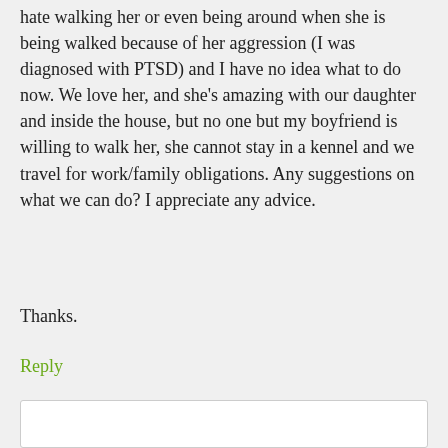hate walking her or even being around when she is being walked because of her aggression (I was diagnosed with PTSD) and I have no idea what to do now. We love her, and she's amazing with our daughter and inside the house, but no one but my boyfriend is willing to walk her, she cannot stay in a kennel and we travel for work/family obligations. Any suggestions on what we can do? I appreciate any advice.
Thanks.
Reply
[Figure (photo): Avatar photo of a Shiba Inu dog]
shibashake says
October 28, 2014 at 10:13 pm